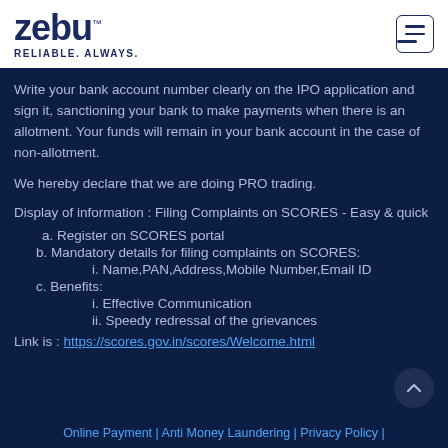[Figure (logo): Zebu logo with text 'zebu' and tagline 'RELIABLE. ALWAYS.' in dark navy blue]
Write your bank account number clearly on the IPO application and sign it, sanctioning your bank to make payments when there is an allotment. Your funds will remain in your bank account in the case of non-allotment.
We hereby declare that we are doing PRO trading.
Display of information : Filing Complaints on SCORES - Easy & quick
a. Register on SCORES portal
b. Mandatory details for filing complaints on SCORES:
i. Name,PAN,Address,Mobile Number,Email ID
c. Benefits:
i. Effective Communication
ii. Speedy redressal of the grievances
Link is : https://scores.gov.in/scores/Welcome.html
Online Payment | Anti Money Laundering | Privacy Policy |